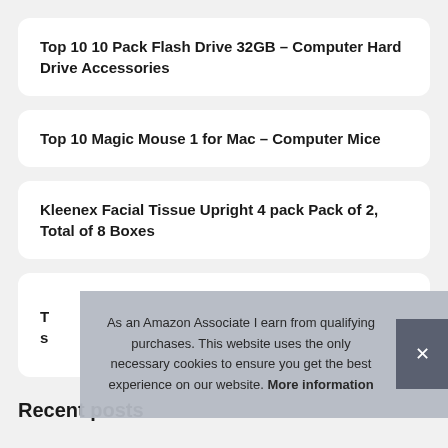Top 10 10 Pack Flash Drive 32GB – Computer Hard Drive Accessories
Top 10 Magic Mouse 1 for Mac – Computer Mice
Kleenex Facial Tissue Upright 4 pack Pack of 2, Total of 8 Boxes
T... s...
As an Amazon Associate I earn from qualifying purchases. This website uses the only necessary cookies to ensure you get the best experience on our website. More information
Recent posts